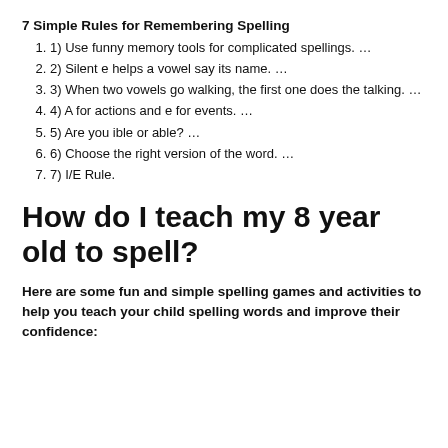7 Simple Rules for Remembering Spelling
1) Use funny memory tools for complicated spellings. …
2) Silent e helps a vowel say its name. …
3) When two vowels go walking, the first one does the talking. …
4) A for actions and e for events. …
5) Are you ible or able? …
6) Choose the right version of the word. …
7) I/E Rule.
How do I teach my 8 year old to spell?
Here are some fun and simple spelling games and activities to help you teach your child spelling words and improve their confidence: